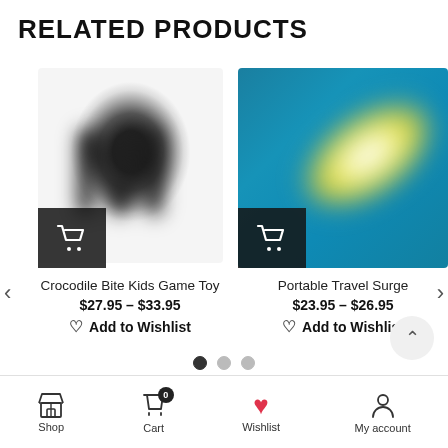RELATED PRODUCTS
[Figure (photo): Blurred product image showing letter M on white/gray background for Crocodile Bite Kids Game Toy]
Crocodile Bite Kids Game Toy
$27.95 – $33.95
Add to Wishlist
[Figure (photo): Blurred product image of a white/yellow elongated object on teal background for Portable Travel Surge]
Portable Travel Surge
$23.95 – $26.95
Add to Wishlist
Shop  Cart  Wishlist  My account